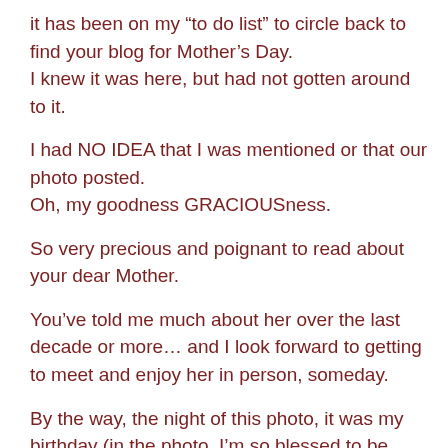it has been on my “to do list” to circle back to find your blog for Mother’s Day.
I knew it was here, but had not gotten around to it.

I had NO IDEA that I was mentioned or that our photo posted.
Oh, my goodness GRACIOUSness.

So very precious and poignant to read about your dear Mother.

You’ve told me much about her over the last decade or more… and I look forward to getting to meet and enjoy her in person, someday.

By the way, the night of this photo, it was my birthday (in the photo, I’m so blessed to be standing in the middle of you and precious